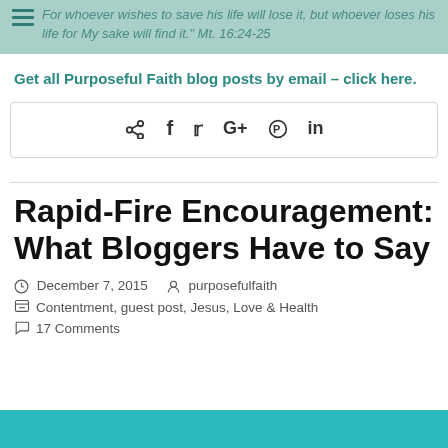For whoever wishes to save his life will lose it, but whoever loses his life for My sake will find it. Mt. 16:24-25
Get all Purposeful Faith blog posts by email – click here.
[Figure (infographic): Social share bar with icons: share, facebook, twitter, google+, pinterest, linkedin]
Rapid-Fire Encouragement: What Bloggers Have to Say
December 7, 2015   purposefulfaith
Contentment, guest post, Jesus, Love & Health
17 Comments
[Figure (illustration): Teal/turquoise colored banner at the bottom of the page]